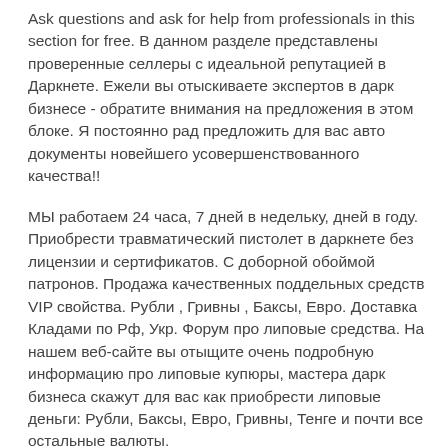Ask questions and ask for help from professionals in this section for free. В данном разделе представлены проверенные селлеры с идеальной репутацией в Даркнете. Ежели вы отыскиваете экспертов в дарк бизнесе - обратите внимания на предложения в этом блоке. Я постоянно рад предложить для вас авто документы новейшего усовершенствованного качества!!
МЫ работаем 24 часа, 7 дней в недельку, дней в году. Приобрести травматический пистолет в даркнете без лицензии и сертификатов. С доборной обоймой патронов. Продажа качественных поддельных средств VIP свойства. Рубли , Гривны , Баксы, Евро. Доставка Кладами по Рф, Укр. Форум про липовые средства. На нашем веб-сайте вы отыщите очень подробную информацию про липовые купюры, мастера дарк бизнеса скажут для вас как приобрести липовые деньги: Рубли, Баксы, Евро, Гривны, Тенге и почти все остальные валюты.
Вы получите информацию о том, как отличить липовые